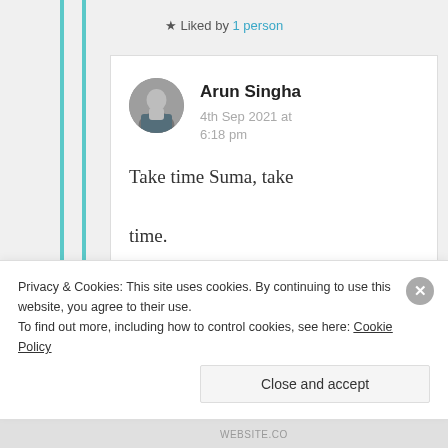★ Liked by 1 person
[Figure (photo): Circular avatar photo of Arun Singha]
Arun Singha
4th Sep 2021 at 6:18 pm
Take time Suma, take time.
Give time Suma, give
Privacy & Cookies: This site uses cookies. By continuing to use this website, you agree to their use.
To find out more, including how to control cookies, see here: Cookie Policy
Close and accept